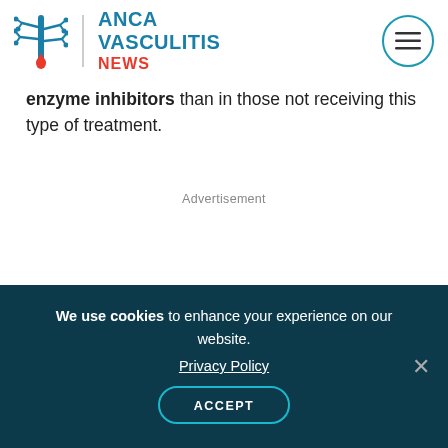ANCA VASCULITIS NEWS
enzyme inhibitors than in those not receiving this type of treatment.
Advertisement
We use cookies to enhance your experience on our website. Privacy Policy ACCEPT